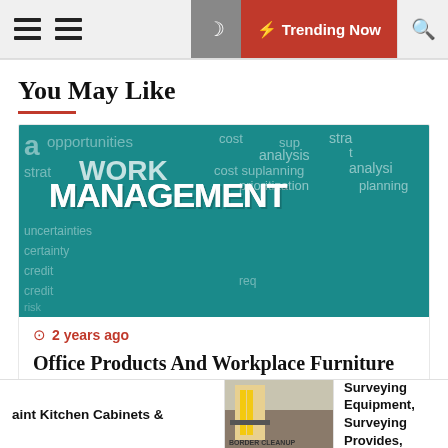Trending Now
You May Like
[Figure (photo): 3D word cloud concept image featuring the word MANAGEMENT prominently with related business words: cost, analysis, planning, prioritization, strategy, opportunities, uncertainty, credit, supply, etc. on a teal background.]
2 years ago
Office Products And Workplace Furniture
aint Kitchen Cabinets &
[Figure (photo): Thumbnail image showing outdoor scene with yellow equipment, possibly surveying gear.]
Land Surveying Equipment, Surveying Provides, Survey